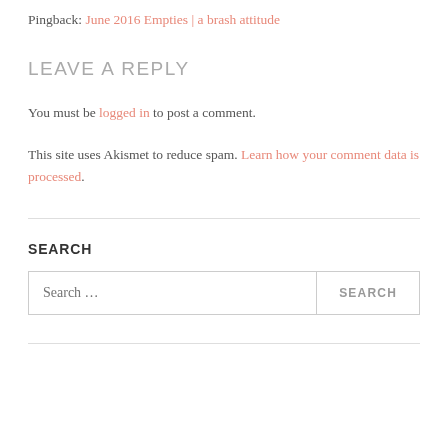Pingback: June 2016 Empties | a brash attitude
LEAVE A REPLY
You must be logged in to post a comment.
This site uses Akismet to reduce spam. Learn how your comment data is processed.
SEARCH